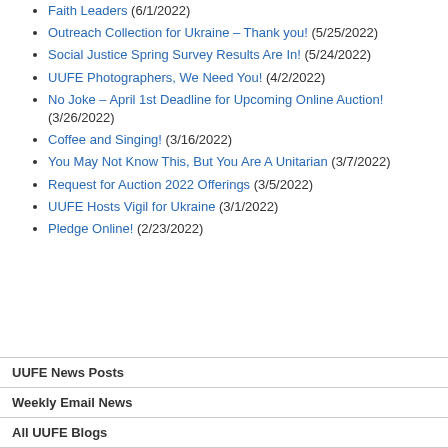Faith Leaders (6/1/2022)
Outreach Collection for Ukraine – Thank you! (5/25/2022)
Social Justice Spring Survey Results Are In! (5/24/2022)
UUFE Photographers, We Need You! (4/2/2022)
No Joke – April 1st Deadline for Upcoming Online Auction! (3/26/2022)
Coffee and Singing! (3/16/2022)
You May Not Know This, But You Are A Unitarian (3/7/2022)
Request for Auction 2022 Offerings (3/5/2022)
UUFE Hosts Vigil for Ukraine (3/1/2022)
Pledge Online! (2/23/2022)
UUFE News Posts
Weekly Email News
All UUFE Blogs